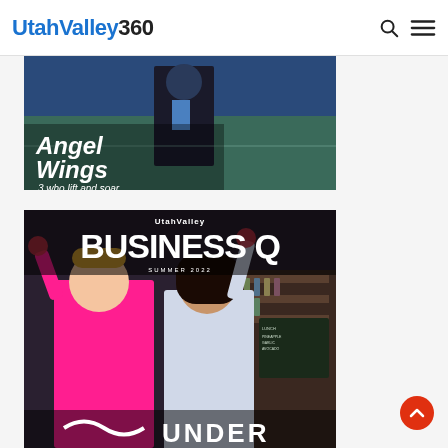UtahValley360
[Figure (photo): Magazine cover image with text 'Angel Wings - 3 who lift and soar' overlaid on a dark background with a person in athletic wear near a tennis court]
[Figure (photo): Utah Valley Business Q magazine Summer 2022 cover featuring two women at a bar/restaurant, one in pink suit one in white dress, raising drinks. Text reads BUSINESS Q, SUMMER 2022, UNDER at the bottom.]